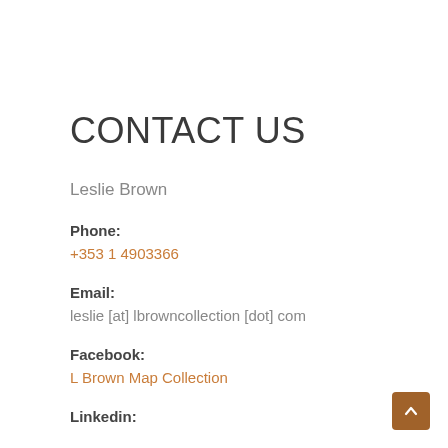CONTACT US
Leslie Brown
Phone:
+353 1 4903366
Email:
leslie [at] lbrowncollection [dot] com
Facebook:
L Brown Map Collection
Linkedin: